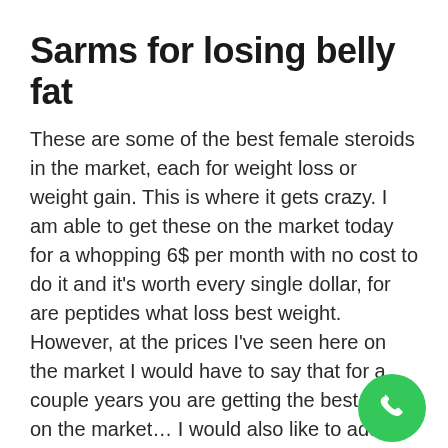Sarms for losing belly fat
These are some of the best female steroids in the market, each for weight loss or weight gain. This is where it gets crazy. I am able to get these on the market today for a whopping 6$ per month with no cost to do it and it's worth every single dollar, for are peptides what loss best weight. However, at the prices I've seen here on the market I would have to say that for a couple years you are getting the best price on the market… I would also like to add that at the time we are listing these I would use this site for those looking for help but also for those that are looking to buy a steroid to enhance their physique.
I want to show you a few things when it comes to selling and buying female steroids: